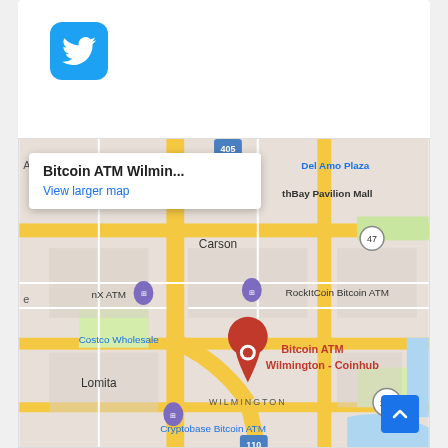[Figure (logo): Twitter bird logo on blue rounded square button]
[Figure (map): Google Maps screenshot showing Bitcoin ATM Wilmington - Coinhub location in Wilmington, CA area. Map shows Carson, Lomita, Del Amo Plaza, South Bay Pavilion Mall areas. Nearby locations: RockItCoin Bitcoin ATM, nX ATM, Costco Wholesale, Cryptobase Bitcoin ATM. Roads including route 405, 47, 103, 110. A popup reads 'Bitcoin ATM Wilmin...' with 'View larger map' link. Red pin marks Bitcoin ATM Wilmington - Coinhub.]